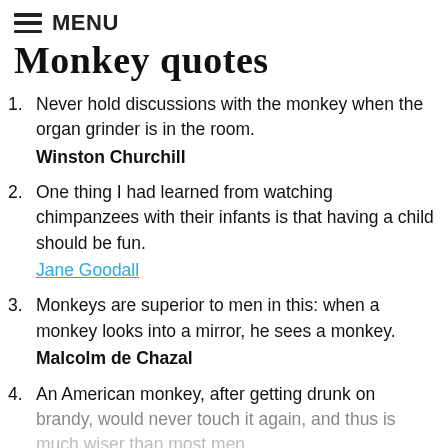MENU
Monkey quotes
Never hold discussions with the monkey when the organ grinder is in the room.
Winston Churchill
One thing I had learned from watching chimpanzees with their infants is that having a child should be fun.
Jane Goodall
Monkeys are superior to men in this: when a monkey looks into a mirror, he sees a monkey.
Malcolm de Chazal
An American monkey, after getting drunk on brandy, would never touch it again, and thus is much wiser than most men.